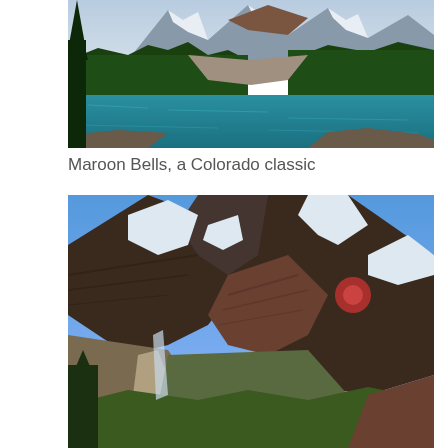[Figure (photo): Maroon Bells lake scene with turquoise water, pine forest on hillsides, and snow-capped rocky peaks in background]
Maroon Bells, a Colorado classic
[Figure (photo): Close-up view of Maroon Bells rocky mountain peaks with snow patches, green vegetation at base, and bright blue sky. A red lens flare is visible on the right peak.]